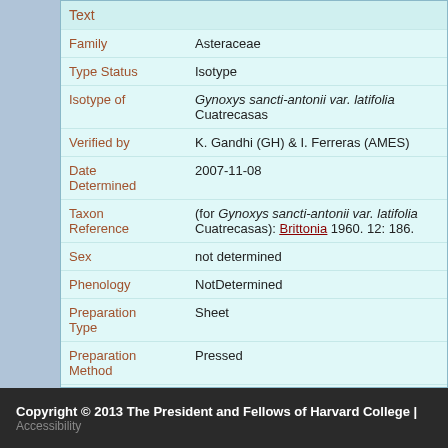| Field | Value |
| --- | --- |
| Text |  |
| Family | Asteraceae |
| Type Status | Isotype |
| Isotype of | Gynoxys sancti-antonii var. latifolia Cuatrecasas |
| Verified by | K. Gandhi (GH) & I. Ferreras (AMES) |
| Date Determined | 2007-11-08 |
| Taxon Reference | (for Gynoxys sancti-antonii var. latifolia Cuatrecasas): Brittonia 1960. 12: 186. |
| Sex | not determined |
| Phenology | NotDetermined |
| Preparation Type | Sheet |
| Preparation Method | Pressed |
Copyright © 2013 The President and Fellows of Harvard College | Accessibility